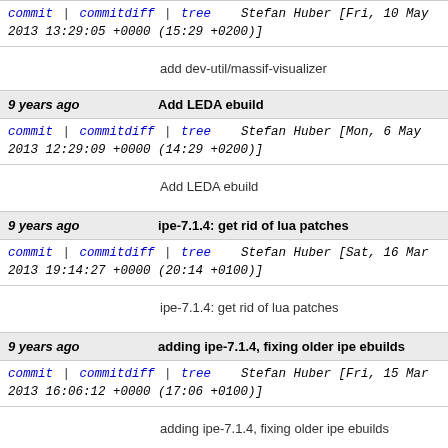commit | commitdiff | tree   Stefan Huber [Fri, 10 May 2013 13:29:05 +0000 (15:29 +0200)]
add dev-util/massif-visualizer
9 years ago   Add LEDA ebuild
commit | commitdiff | tree   Stefan Huber [Mon, 6 May 2013 12:29:09 +0000 (14:29 +0200)]
Add LEDA ebuild
9 years ago   ipe-7.1.4: get rid of lua patches
commit | commitdiff | tree   Stefan Huber [Sat, 16 Mar 2013 19:14:27 +0000 (20:14 +0100)]
ipe-7.1.4: get rid of lua patches
9 years ago   adding ipe-7.1.4, fixing older ipe ebuilds
commit | commitdiff | tree   Stefan Huber [Fri, 15 Mar 2013 16:06:12 +0000 (17:06 +0100)]
adding ipe-7.1.4, fixing older ipe ebuilds